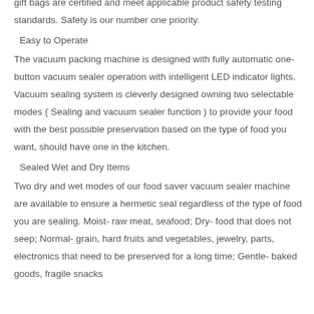gift bags are certified and meet applicable product safety testing standards. Safety is our number one priority.
Easy to Operate
The vacuum packing machine is designed with fully automatic one-button vacuum sealer operation with intelligent LED indicator lights. Vacuum sealing system is cleverly designed owning two selectable modes ( Sealing and vacuum sealer function ) to provide your food with the best possible preservation based on the type of food you want, should have one in the kitchen.
Sealed Wet and Dry Items
Two dry and wet modes of our food saver vacuum sealer machine are available to ensure a hermetic seal regardless of the type of food you are sealing. Moist- raw meat, seafood; Dry- food that does not seep; Normal- grain, hard fruits and vegetables, jewelry, parts, electronics that need to be preserved for a long time; Gentle- baked goods, fragile snacks